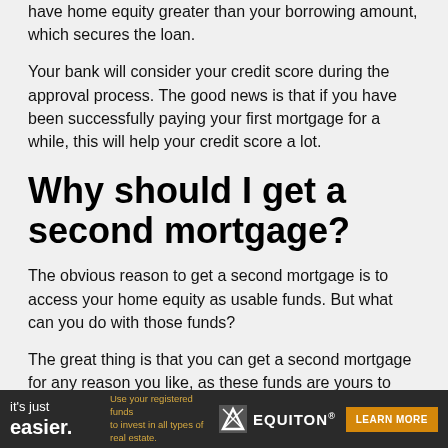have home equity greater than your borrowing amount, which secures the loan.
Your bank will consider your credit score during the approval process. The good news is that if you have been successfully paying your first mortgage for a while, this will help your credit score a lot.
Why should I get a second mortgage?
The obvious reason to get a second mortgage is to access your home equity as usable funds. But what can you do with those funds?
The great thing is that you can get a second mortgage for any reason you like, as these funds are yours to use as you see fit.
[Figure (infographic): Advertisement banner for Equiton: dark background with white text 'it's just easier.' and gold text 'Use your registered funds to invest in all types of real estate.' with Equiton logo and orange LEARN MORE button.]